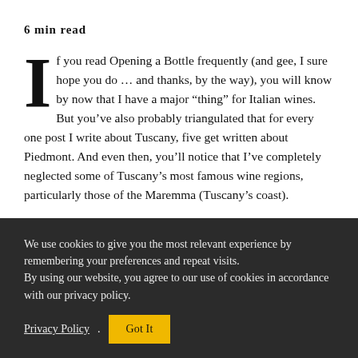6 min read
If you read Opening a Bottle frequently (and gee, I sure hope you do … and thanks, by the way), you will know by now that I have a major “thing” for Italian wines. But you’ve also probably triangulated that for every one post I write about Tuscany, five get written about Piedmont. And even then, you’ll notice that I’ve completely neglected some of Tuscany’s most famous wine regions, particularly those of the Maremma (Tuscany’s coast).
We use cookies to give you the most relevant experience by remembering your preferences and repeat visits. By using our website, you agree to our use of cookies in accordance with our privacy policy.
Privacy Policy    Got It